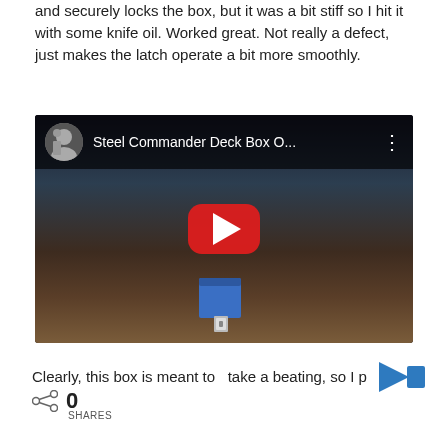and securely locks the box, but it was a bit stiff so I hit it with some knife oil. Worked great. Not really a defect, just makes the latch operate a bit more smoothly.
[Figure (screenshot): YouTube video embed showing 'Steel Commander Deck Box O...' with a play button overlay. The video thumbnail shows a blue deck box on a wooden surface.]
Clearly, this box is meant to  take a beating, so I p
0
SHARES